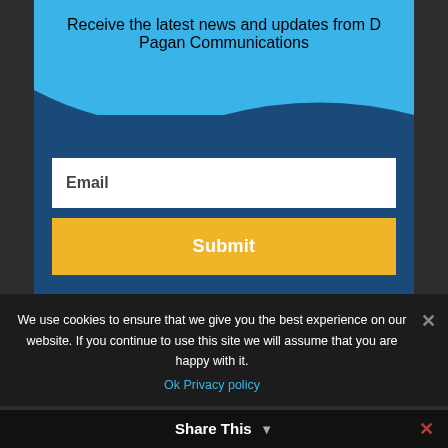Receive the latest news and updates from D Pagan Communications
Email
Submit
Recent Client News
We use cookies to ensure that we give you the best experience on our website. If you continue to use this site we will assume that you are happy with it.
Ok   Privacy policy
Share This